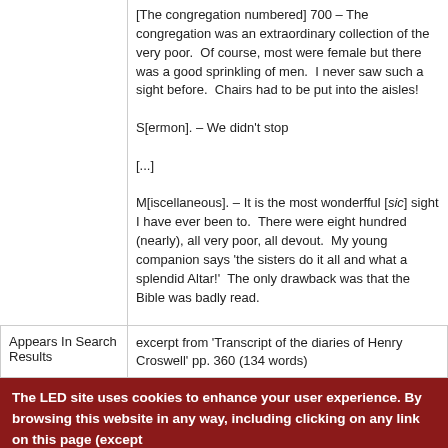[The congregation numbered] 700 – The congregation was an extraordinary collection of the very poor.  Of course, most were female but there was a good sprinkling of men.  I never saw such a sight before.  Chairs had to be put into the aisles!

S[ermon]. – We didn't stop

[...]

M[iscellaneous]. – It is the most wonderfful [sic] sight I have ever been to.  There were eight hundred (nearly), all very poor, all devout.  My young companion says 'the sisters do it all and what a splendid Altar!'  The only drawback was that the Bible was badly read.
Appears In Search Results
excerpt from 'Transcript of the diaries of Henry Croswell' pp. 360 (134 words)
The LED site uses cookies to enhance your user experience. By browsing this website in any way, including clicking on any link on this page (except